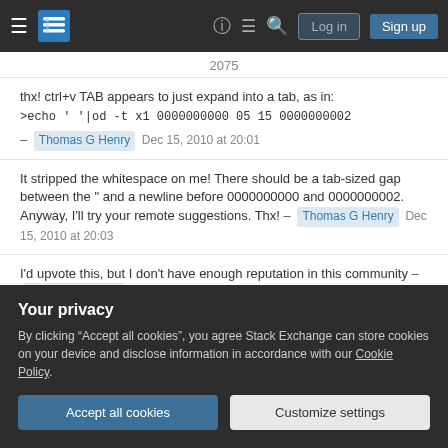Stack Exchange navigation bar with hamburger menu, logo, help, chat, search, Log in, Sign up buttons
2075
thx! ctrl+v TAB appears to just expand into a tab, as in: >echo ' '|od -t x1 0000000000 05 15 0000000002 – Thomas G Henry  Dec 15, 2010 at 20:01
It stripped the whitespace on me! There should be a tab-sized gap between the " and a newline before 0000000000 and 0000000002. Anyway, I'll try your remote suggestions. Thx! – Thomas G Henry  Dec 15, 2010 at 20:03
I'd upvote this, but I don't have enough reputation in this community – Thomas G Henry  Dec 15, 2010 at
Your privacy
By clicking "Accept all cookies", you agree Stack Exchange can store cookies on your device and disclose information in accordance with our Cookie Policy.
Accept all cookies   Customize settings
Add a comment